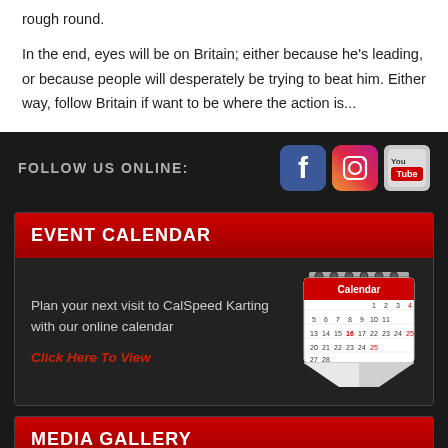rough round.
In the end, eyes will be on Britain; either because he's leading, or because people will desperately be trying to beat him. Either way, follow Britain if want to be where the action is...
FOLLOW US ONLINE:
[Figure (logo): Facebook, Instagram, and YouTube social media icons]
EVENT CALENDAR
Plan your next visit to CalSpeed Karting with our online calendar
Click Here To View
[Figure (illustration): 3D calendar illustration with red header labeled Calendar and dates shown]
MEDIA GALLERY
See the latest images and videos from CalSpeed Karting